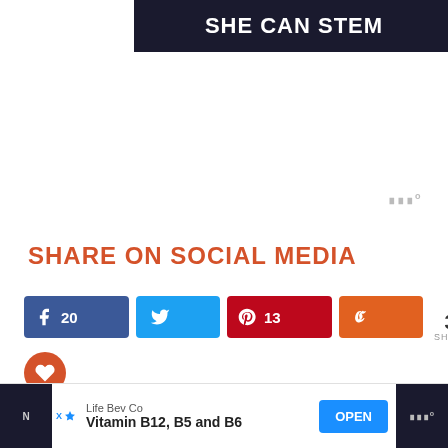[Figure (screenshot): SHE CAN STEM banner — dark background with bold white text]
SHARE ON SOCIAL MEDIA
[Figure (screenshot): Social share buttons: Facebook (20), Twitter, Pinterest (13), Yummly, total 33 SHARES, and a heart button]
BSCRIBE TO THE GRANTOURISMO TRAVELS
[Figure (screenshot): Bottom ad bar: Life Bev Co — Vitamin B12, B5 and B6 — OPEN button]